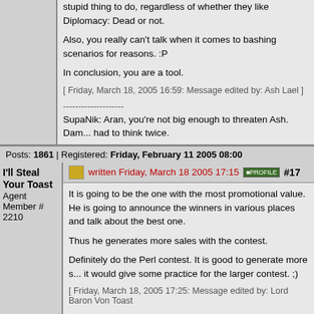stupid thing to do, regardless of whether they like Diplomacy: Dead or not.
Also, you really can't talk when it comes to bashing scenarios for reasons. :P
In conclusion, you are a tool.
[ Friday, March 18, 2005 16:59: Message edited by: Ash Lael ]
--------------------
SupaNik: Aran, you're not big enough to threaten Ash. Damn, had to think twice.
Posts: 1861 | Registered: Friday, February 11 2005 08:00
I'll Steal Your Toast
Agent Member # 2210
written Friday, March 18 2005 17:15
#17
It is going to be the one with the most promotional value. He is going to announce the winners in various places and talk about the best one.
Thus he generates more sales with the contest.
Definitely do the Perl contest. It is good to generate more s... it would give some practice for the larger contest. ;)
[ Friday, March 18, 2005 17:25: Message edited by: Lord Baron Von Toast
--------------------
Wasting your time and mine looking for a good laugh.
Star Bright, Star Light, Oh I Wish I May, I Wish Might, Wish...